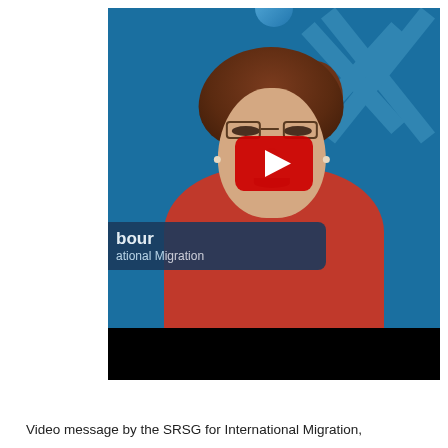[Figure (screenshot): YouTube video thumbnail showing a woman with short auburn hair and glasses, wearing a red turtleneck sweater, speaking in front of a blue UN-branded background. A red YouTube play button is overlaid in the center. A lower-third bar reads 'bour / ational Migration'. The video has a black bar at the bottom.]
Video message by the SRSG for International Migration, ational Migration